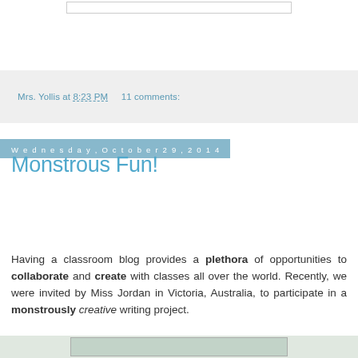Mrs. Yollis at 8:23 PM    11 comments:
Wednesday, October 29, 2014
Monstrous Fun!
Having a classroom blog provides a plethora of opportunities to collaborate and create with classes all over the world. Recently, we were invited by Miss Jordan in Victoria, Australia, to participate in a monstrously creative writing project.
[Figure (photo): Partial image visible at bottom of page, appears to be a colorful classroom or student project image]